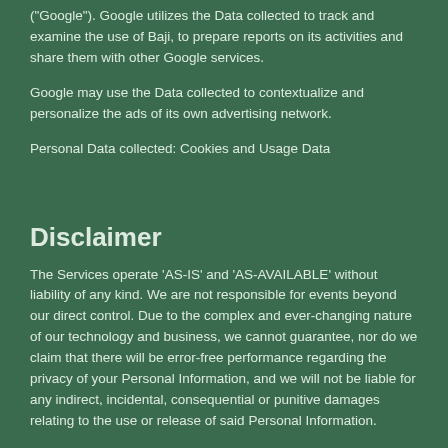("Google"). Google utilizes the Data collected to track and examine the use of Baji, to prepare reports on its activities and share them with other Google services.
Google may use the Data collected to contextualize and personalize the ads of its own advertising network.
Personal Data collected: Cookies and Usage Data
Disclaimer
The Services operate ‘AS-IS’ and ‘AS-AVAILABLE’ without liability of any kind. We are not responsible for events beyond our direct control. Due to the complex and ever-changing nature of our technology and business, we cannot guarantee, nor do we claim that there will be error-free performance regarding the privacy of your Personal Information, and we will not be liable for any indirect, incidental, consequential or punitive damages relating to the use or release of said Personal Information.